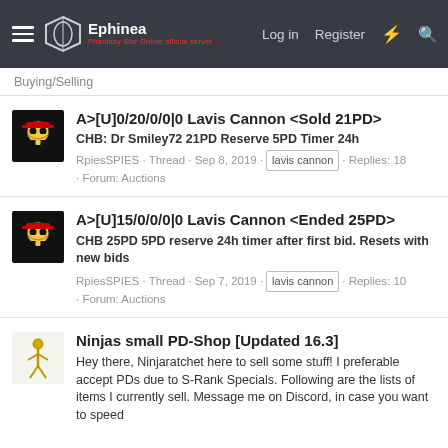Ephinea | Log in | Register
Buying/Selling
A>[U]0/20/0/0|0 Lavis Cannon <Sold 21PD>
CHB: Dr Smiley72 21PD Reserve 5PD Timer 24h
RpiesSPIES · Thread · Sep 8, 2019 · lavis cannon · Replies: 18 · Forum: Auctions
A>[U]15/0/0/0|0 Lavis Cannon <Ended 25PD>
CHB 25PD 5PD reserve 24h timer after first bid. Resets with new bids
RpiesSPIES · Thread · Sep 7, 2019 · lavis cannon · Replies: 10 · Forum: Auctions
Ninjas small PD-Shop [Updated 16.3]
Hey there, Ninjaratchet here to sell some stuff! I preferable accept PDs due to S-Rank Specials. Following are the lists of items I currently sell. Message me on Discord, in case you want to speed